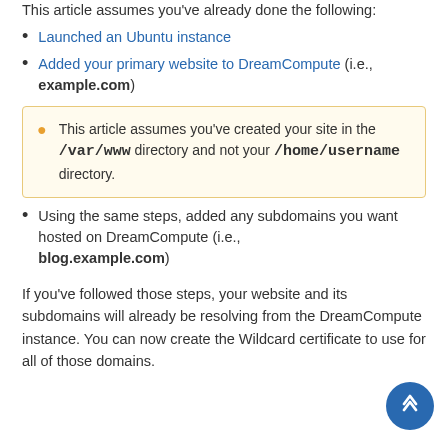This article assumes you've already done the following:
Launched an Ubuntu instance
Added your primary website to DreamCompute (i.e., example.com)
This article assumes you've created your site in the /var/www directory and not your /home/username directory.
Using the same steps, added any subdomains you want hosted on DreamCompute (i.e., blog.example.com)
If you've followed those steps, your website and its subdomains will already be resolving from the DreamCompute instance. You can now create the Wildcard certificate to use for all of those domains.